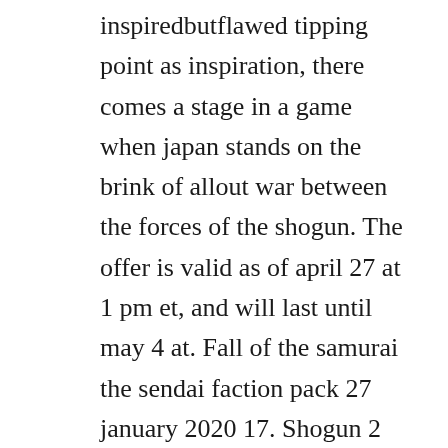inspiredbutflawed tipping point as inspiration, there comes a stage in a game when japan stands on the brink of allout war between the forces of the shogun. The offer is valid as of april 27 at 1 pm et, and will last until may 4 at. Fall of the samurai the sendai faction pack 27 january 2020 17. Shogun 2 total war provides a compelling mix of turnbased imperial administration and spectacular realtime battles. Why shogun 2 was the greatest total war ever, and what attila. This trainer may not necessarily work with your copy of the game. The player needs to